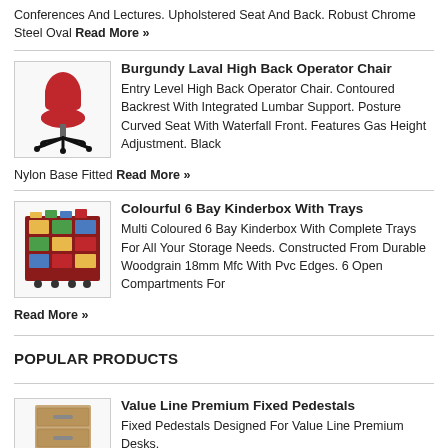Conferences And Lectures. Upholstered Seat And Back. Robust Chrome Steel Oval Read More »
Burgundy Laval High Back Operator Chair
[Figure (photo): Red office operator chair with black nylon base]
Entry Level High Back Operator Chair. Contoured Backrest With Integrated Lumbar Support. Posture Curved Seat With Waterfall Front. Features Gas Height Adjustment. Black Nylon Base Fitted Read More »
Colourful 6 Bay Kinderbox With Trays
[Figure (photo): Multi-coloured 6 bay kinderbox storage unit with trays]
Multi Coloured 6 Bay Kinderbox With Complete Trays For All Your Storage Needs. Constructed From Durable Woodgrain 18mm Mfc With Pvc Edges. 6 Open Compartments For Read More »
POPULAR PRODUCTS
Value Line Premium Fixed Pedestals
[Figure (photo): Value line premium fixed pedestal in beech/wood finish]
Fixed Pedestals Designed For Value Line Premium Desks.